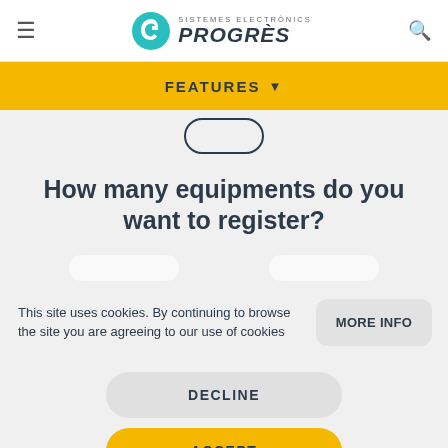SISTEMES ELECTRONICS PROGRÈS
FEATURES
How many equipments do you want to register?
This site uses cookies. By continuing to browse the site you are agreeing to our use of cookies
MORE INFO
DECLINE
ACCEPT